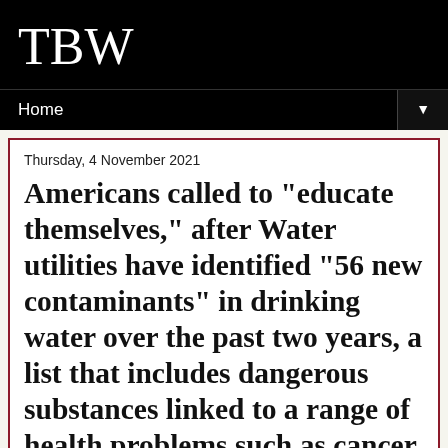TBW
Home
Thursday, 4 November 2021
Americans called to "educate themselves," after Water utilities have identified "56 new contaminants" in drinking water over the past two years, a list that includes dangerous substances linked to a range of health problems such as cancer, reproductive disruption, liver disease and much more
[Figure (photo): Image placeholder at the bottom of the article]